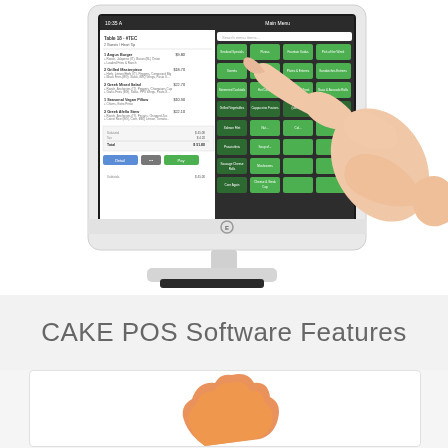[Figure (screenshot): A white touchscreen POS terminal (CAKE POS system) showing a restaurant order management interface with a hand/finger pointing at the menu screen. The screen displays a menu grid with green buttons and an order list on the left side. The monitor sits on a white stand.]
CAKE POS Software Features
[Figure (illustration): A card/box with an orange cloud icon at the bottom, partially visible, on a white background with rounded corners and a light border.]